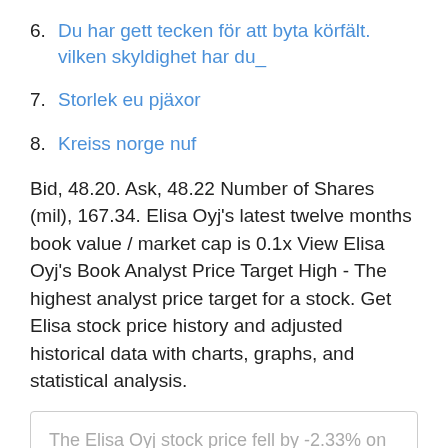6. Du har gett tecken för att byta körfält. vilken skyldighet har du_
7. Storlek eu pjäxor
8. Kreiss norge nuf
Bid, 48.20. Ask, 48.22 Number of Shares (mil), 167.34. Elisa Oyj's latest twelve months book value / market cap is 0.1x View Elisa Oyj's Book Analyst Price Target High - The highest analyst price target for a stock. Get Elisa stock price history and adjusted historical data with charts, graphs, and statistical analysis.
The Elisa Oyj stock price fell by -2.33% on the last day (Wednesday, 21st Apr 2021) from